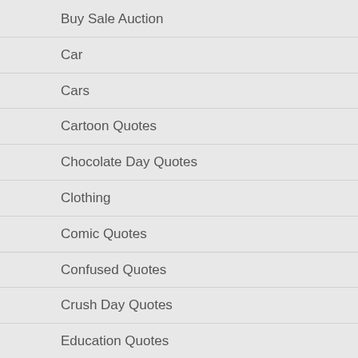Buy Sale Auction
Car
Cars
Cartoon Quotes
Chocolate Day Quotes
Clothing
Comic Quotes
Confused Quotes
Crush Day Quotes
Education Quotes
Encouraging Quotes
Entertainment